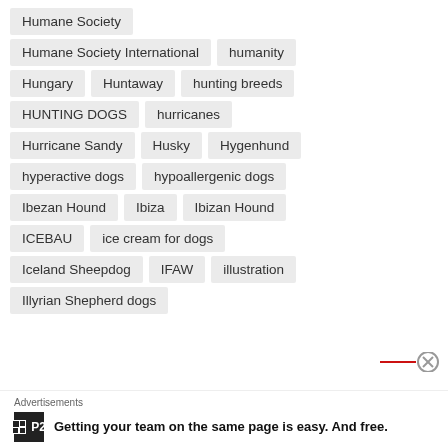Humane Society
Humane Society International
humanity
Hungary
Huntaway
hunting breeds
HUNTING DOGS
hurricanes
Hurricane Sandy
Husky
Hygenhund
hyperactive dogs
hypoallergenic dogs
Ibezan Hound
Ibiza
Ibizan Hound
ICEBAU
ice cream for dogs
Iceland Sheepdog
IFAW
illustration
Illyrian Shepherd dogs
Advertisements
Getting your team on the same page is easy. And free.